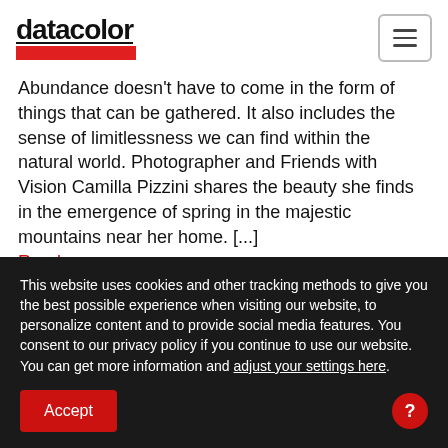datacolor
Abundance doesn't have to come in the form of things that can be gathered. It also includes the sense of limitlessness we can find within the natural world. Photographer and Friends with Vision Camilla Pizzini shares the beauty she finds in the emergence of spring in the majestic mountains near her home. [...] Read more
This website uses cookies and other tracking methods to give you the best possible experience when visiting our website, to personalize content and to provide social media features. You consent to our privacy policy if you continue to use our website. You can get more information and adjust your settings here.
Accept